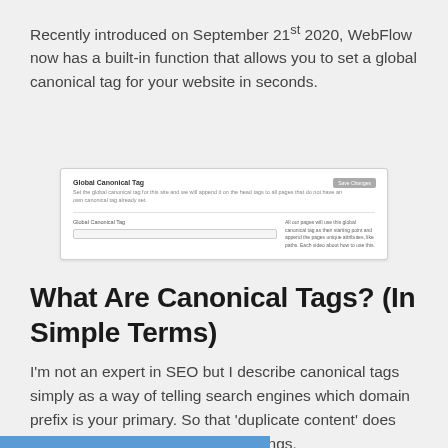Recently introduced on September 21st 2020, WebFlow now has a built-in function that allows you to set a global canonical tag for your website in seconds.
[Figure (screenshot): Screenshot of WebFlow's Global Canonical Tag settings interface showing a title, description text, a divider, an input field labeled 'Global Canonical Tag', and a text description on the right side. A save button appears in the top right.]
What Are Canonical Tags? (In Simple Terms)
I'm not an expert in SEO but I describe canonical tags simply as a way of telling search engines which domain prefix is your primary. So that 'duplicate content' does not affect your search engine rankings.